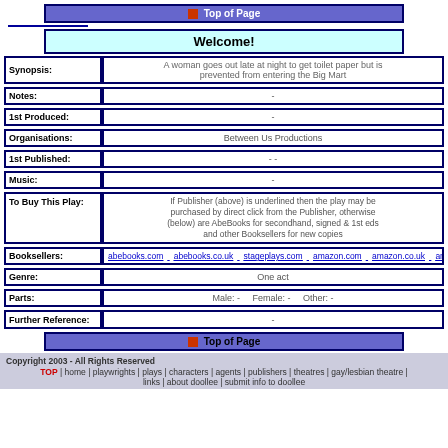Top of Page
Welcome!
| Field | Value |
| --- | --- |
| Synopsis: | A woman goes out late at night to get toilet paper but is prevented from entering the Big Mart |
| Notes: | - |
| 1st Produced: | - |
| Organisations: | Between Us Productions |
| 1st Published: | - - |
| Music: | - |
| To Buy This Play: | If Publisher (above) is underlined then the play may be purchased by direct click from the Publisher, otherwise (below) are AbeBooks for secondhand, signed & 1st eds and other Booksellers for new copies |
| Booksellers: | abebooks.com  abebooks.co.uk  stageplays.com  amazon.com  amazon.co.uk  am |
| Genre: | One act |
| Parts: | Male: -   Female: -   Other: - |
| Further Reference: | - |
Top of Page
Copyright 2003 - All Rights Reserved TOP | home | playwrights | plays | characters | agents | publishers | theatres | gay/lesbian theatre | links | about doollee | submit info to doollee